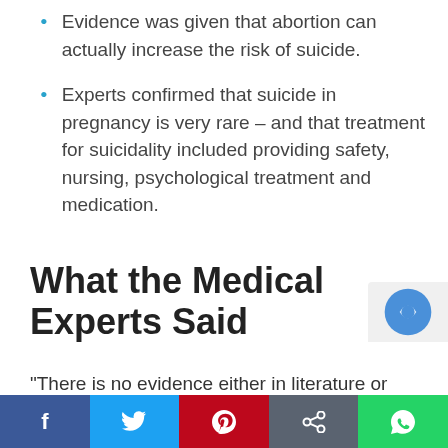Evidence was given that abortion can actually increase the risk of suicide.
Experts confirmed that suicide in pregnancy is very rare – and that treatment for suicidality included providing safety, nursing, psychological treatment and medication.
What the Medical Experts Said
“There is no evidence either in literature or from the work of St Patrick’s University Hospital that indicates that termination of pregnancy is an effective treatment for any mental health disorder or difficult